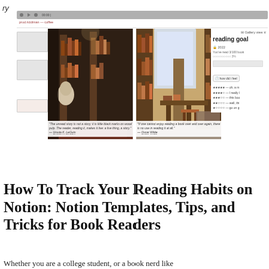ry
[Figure (screenshot): Screenshot of a Notion reading tracker interface showing a browser bar, audio/video controls, two library book photos with quotes, a right panel with gallery view, reading goal 2022 (3/100 books, 3%), a progress bar, how did I feel button, and star ratings legend.]
"The unread story is not a story; it is little black marks on wood pulp. The reader, reading it, makes it live: a live thing, a story." — Ursula K. LeGuin
"If one cannot enjoy reading a book over and over again, there is no use in reading it at all." — Oscar Wilde
How To Track Your Reading Habits on Notion: Notion Templates, Tips, and Tricks for Book Readers
Whether you are a college student, or a book nerd like